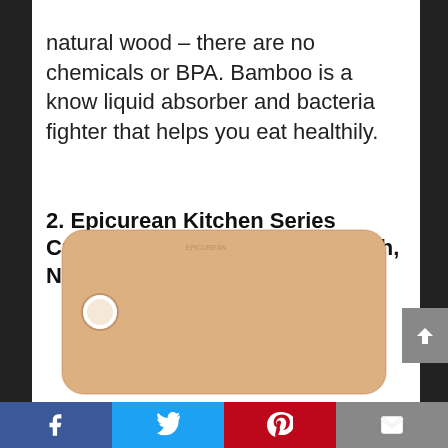natural wood – there are no chemicals or BPA. Bamboo is a know liquid absorber and bacteria fighter that helps you eat healthily.
2. Epicurean Kitchen Series Cutting Board, 14.5 by 11.25-Inch, Natural
[Figure (photo): Photo of an Epicurean Kitchen Series cutting board, natural/tan color, rectangular with rounded corners and a hole in the top left corner.]
Social share bar with Facebook, Twitter, Pinterest, and Email icons